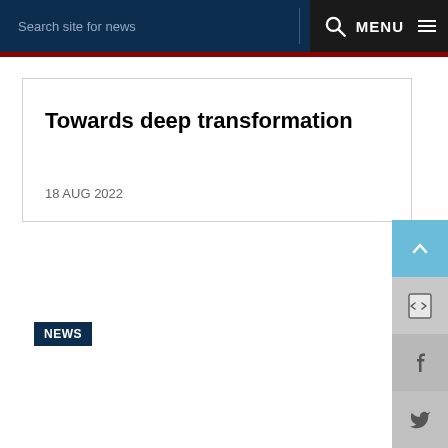Search site for news   MENU
Towards deep transformation
18 AUG 2022
NEWS